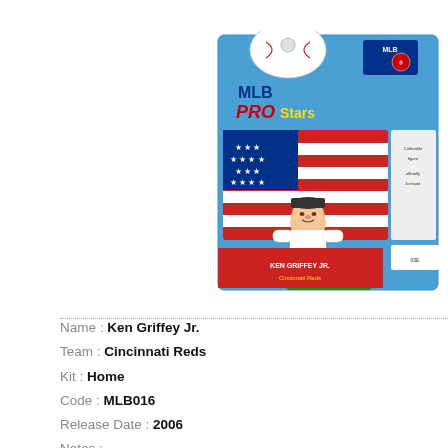[Figure (photo): MLB Pro Stars collectible figurine of Ken Griffey Jr. in packaging. The blister card shows the MLB Pro Stars logo with a baseball graphic, red/white/blue American flag design, and a small player figurine wearing a white home uniform.]
Name : Ken Griffey Jr.
Team : Cincinnati Reds
Kit : Home
Code : MLB016
Release Date : 2006
Notes :